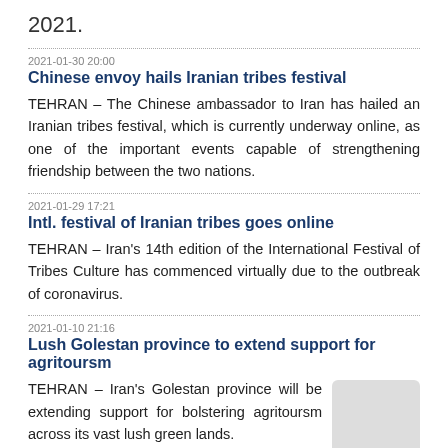2021.
2021-01-30 20:00
Chinese envoy hails Iranian tribes festival
TEHRAN – The Chinese ambassador to Iran has hailed an Iranian tribes festival, which is currently underway online, as one of the important events capable of strengthening friendship between the two nations.
2021-01-29 17:21
Intl. festival of Iranian tribes goes online
TEHRAN – Iran's 14th edition of the International Festival of Tribes Culture has commenced virtually due to the outbreak of coronavirus.
2021-01-10 21:16
Lush Golestan province to extend support for agritoursm
[Figure (photo): Placeholder image thumbnail for article about Golestan province]
TEHRAN – Iran's Golestan province will be extending support for bolstering agritoursm across its vast lush green lands.